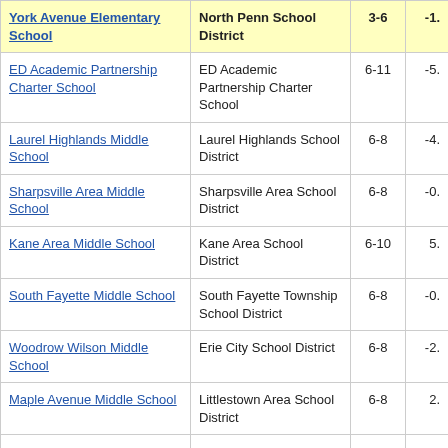| School | District | Grades | Value |
| --- | --- | --- | --- |
| York Avenue Elementary School | North Penn School District | 3-6 | -1. |
| ED Academic Partnership Charter School | ED Academic Partnership Charter School | 6-11 | -5. |
| Laurel Highlands Middle School | Laurel Highlands School District | 6-8 | -4. |
| Sharpsville Area Middle School | Sharpsville Area School District | 6-8 | -0. |
| Kane Area Middle School | Kane Area School District | 6-10 | 5. |
| South Fayette Middle School | South Fayette Township School District | 6-8 | -0. |
| Woodrow Wilson Middle School | Erie City School District | 6-8 | -2. |
| Maple Avenue Middle School | Littlestown Area School District | 6-8 | 2. |